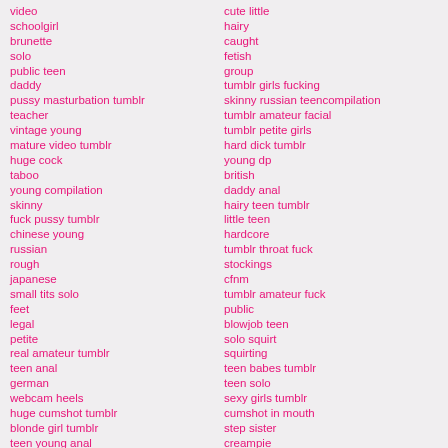video
schoolgirl
brunette
solo
public teen
daddy
pussy masturbation tumblr
teacher
vintage young
mature video tumblr
huge cock
taboo
young compilation
skinny
fuck pussy tumblr
chinese young
russian
rough
japanese
small tits solo
feet
legal
petite
real amateur tumblr
teen anal
german
webcam heels
huge cumshot tumblr
blonde girl tumblr
teen young anal
busty
facial
masturbation
cute little
hairy
caught
fetish
group
tumblr girls fucking
skinny russian teencompilation
tumblr amateur facial
tumblr petite girls
hard dick tumblr
young dp
british
daddy anal
hairy teen tumblr
little teen
hardcore
tumblr throat fuck
stockings
cfnm
tumblr amateur fuck
public
blowjob teen
solo squirt
squirting
teen babes tumblr
teen solo
sexy girls tumblr
cumshot in mouth
step sister
creampie
anal teen
chubby bbc
https:/win